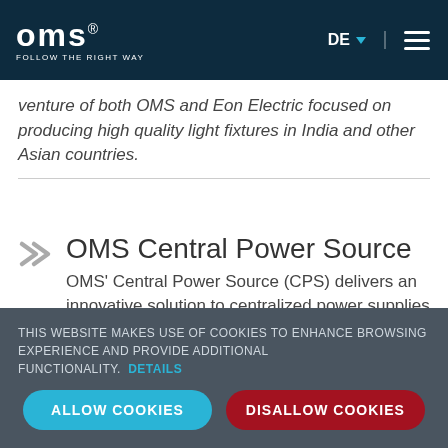OMS FOLLOW THE RIGHT WAY | DE | Menu
venture of both OMS and Eon Electric focused on producing high quality light fixtures in India and other Asian countries.
OMS Central Power Source
OMS' Central Power Source (CPS) delivers an innovative solution to centralized power supplies for lighting fixtures.
THIS WEBSITE MAKES USE OF COOKIES TO ENHANCE BROWSING EXPERIENCE AND PROVIDE ADDITIONAL FUNCTIONALITY. DETAILS
ALLOW COOKIES | DISALLOW COOKIES